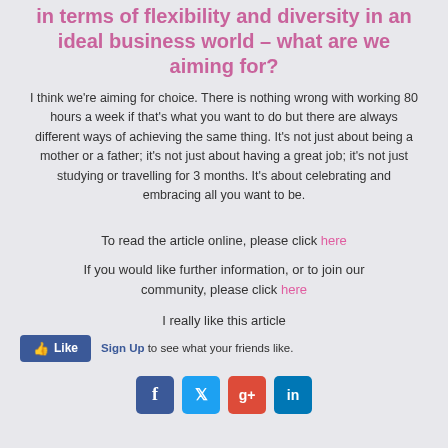in terms of flexibility and diversity in an ideal business world – what are we aiming for?
I think we're aiming for choice. There is nothing wrong with working 80 hours a week if that's what you want to do but there are always different ways of achieving the same thing. It's not just about being a mother or a father; it's not just about having a great job; it's not just studying or travelling for 3 months. It's about celebrating and embracing all you want to be.
To read the article online, please click here
If you would like further information, or to join our community, please click here
I really like this article
[Figure (other): Facebook Like button with Sign Up link and social media icons (Facebook, Twitter, Google+, LinkedIn)]